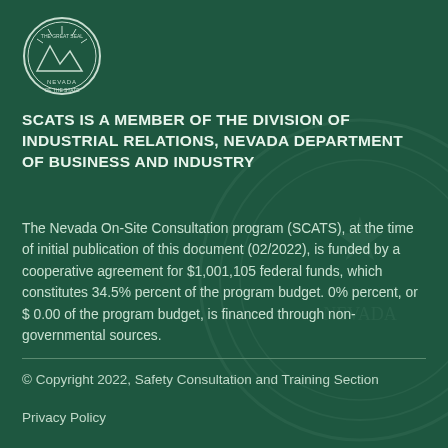[Figure (logo): Nevada State Seal — circular emblem with mountain and state imagery, white on dark green background]
SCATS IS A MEMBER OF THE DIVISION OF INDUSTRIAL RELATIONS, NEVADA DEPARTMENT OF BUSINESS AND INDUSTRY
The Nevada On-Site Consultation program (SCATS), at the time of initial publication of this document (02/2022), is funded by a cooperative agreement for $1,001,105 federal funds, which constitutes 34.5% percent of the program budget. 0% percent, or $ 0.00 of the program budget, is financed through non-governmental sources.
© Copyright 2022, Safety Consultation and Training Section
Privacy Policy